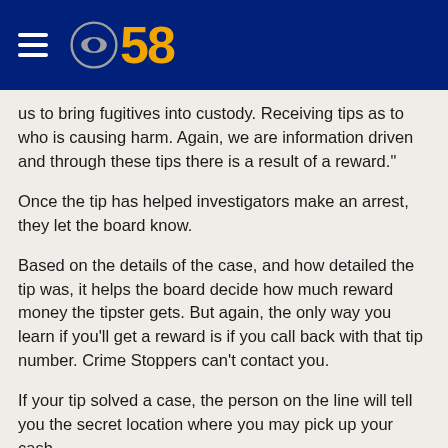[Figure (logo): CBS 58 news website header with hamburger menu icon and CBS 58 logo on dark blue background]
us to bring fugitives into custody. Receiving tips as to who is causing harm. Again, we are information driven and through these tips there is a result of a reward."
Once the tip has helped investigators make an arrest, they let the board know.
Based on the details of the case, and how detailed the tip was, it helps the board decide how much reward money the tipster gets. But again, the only way you learn if you'll get a reward is if you call back with that tip number. Crime Stoppers can't contact you.
If your tip solved a case, the person on the line will tell you the secret location where you may pick up your cash.